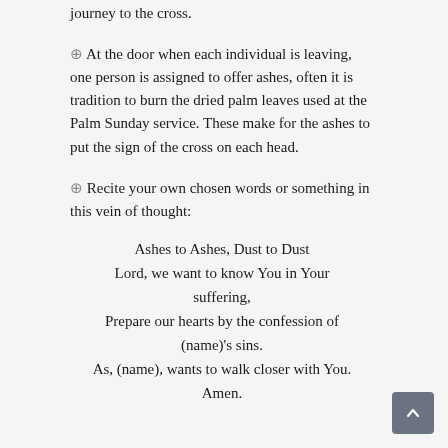journey to the cross.
⊕ At the door when each individual is leaving, one person is assigned to offer ashes, often it is tradition to burn the dried palm leaves used at the Palm Sunday service. These make for the ashes to put the sign of the cross on each head.
⊕ Recite your own chosen words or something in this vein of thought:
Ashes to Ashes, Dust to Dust
Lord, we want to know You in Your suffering,
Prepare our hearts by the confession of (name)'s sins.
As, (name), wants to walk closer with You.
Amen.